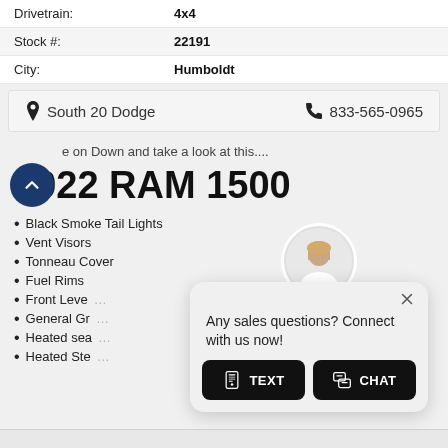| Field | Value |
| --- | --- |
| Drivetrain: | 4x4 |
| Stock #: | 22191 |
| City: | Humboldt |
South 20 Dodge   833-565-0965
e on Down and take a look at this....
2022 RAM 1500
Black Smoke Tail Lights
Vent Visors
Tonneau Cover
Fuel Rims
Front Leve...
General Gr...
Heated sea...
Heated Ste...
Any sales questions? Connect with us now!